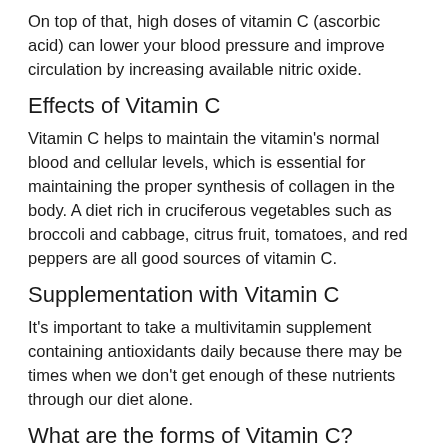On top of that, high doses of vitamin C (ascorbic acid) can lower your blood pressure and improve circulation by increasing available nitric oxide.
Effects of Vitamin C
Vitamin C helps to maintain the vitamin's normal blood and cellular levels, which is essential for maintaining the proper synthesis of collagen in the body. A diet rich in cruciferous vegetables such as broccoli and cabbage, citrus fruit, tomatoes, and red peppers are all good sources of vitamin C.
Supplementation with Vitamin C
It's important to take a multivitamin supplement containing antioxidants daily because there may be times when we don't get enough of these nutrients through our diet alone.
What are the forms of Vitamin C?
Vitamin C can be found in two different forms: ascorbic acid, vitamin C in its natural state, and sodium ascorbate (also known as sodium ascorbate), which has the same